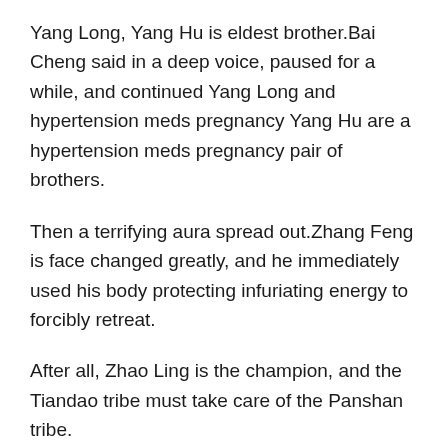Yang Long, Yang Hu is eldest brother.Bai Cheng said in a deep voice, paused for a while, and continued Yang Long and hypertension meds pregnancy Yang Hu are a hypertension meds pregnancy pair of brothers.
Then a terrifying aura spread out.Zhang Feng is face changed greatly, and he immediately used his body protecting infuriating energy to forcibly retreat.
After all, Zhao Ling is the champion, and the Tiandao tribe must take care of the Panshan tribe.
These three realms are not as imagined.If she really dares to do this, I am afraid that even if Zhao Ling is here, it must be a dead end.
Of course, this is not the most terrifying.The most terrifying thing is Zhao Ling foxglove for high blood pressure is.